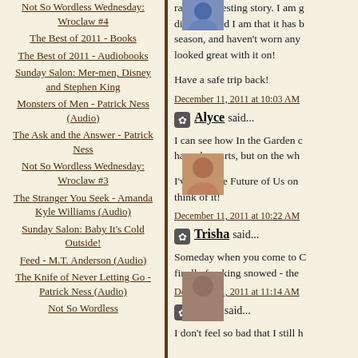Not So Wordless Wednesday: Wroclaw #4
The Best of 2011 - Books
The Best of 2011 - Audiobooks
Sunday Salon: Mer-men, Disney and Stephen King
Monsters of Men - Patrick Ness (Audio)
The Ask and the Answer - Patrick Ness
Not So Wordless Wednesday: Wroclaw #3
The Stranger You Seek - Amanda Kyle Williams (Audio)
Sunday Salon: Baby It's Cold Outside!
Feed - M.T. Anderson (Audio)
The Knife of Never Letting Go - Patrick Ness (Audio)
Not So Wordless
rather interesting story. I am g disappointed I am that it has b season, and haven't worn any looked great with it on!
Have a safe trip back!
December 11, 2011 at 10:03 AM
Alyce said...
I can see how In the Garden c have dry parts, but on the wh
I've had The Future of Us on think of it!
December 11, 2011 at 10:22 AM
Trisha said...
Someday when you come to C finally freaking snowed - the
December 11, 2011 at 11:14 AM
Nise' said...
I don't feel so bad that I still h